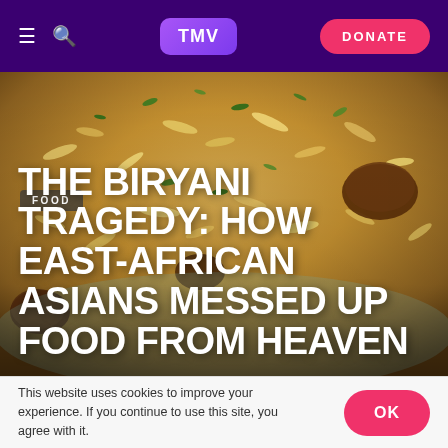TMV | DONATE
[Figure (photo): Close-up photograph of biryani rice dish with herbs, meat pieces, and colorful spices in a bowl]
FOOD
THE BIRYANI TRAGEDY: HOW EAST-AFRICAN ASIANS MESSED UP FOOD FROM HEAVEN
This website uses cookies to improve your experience. If you continue to use this site, you agree with it.